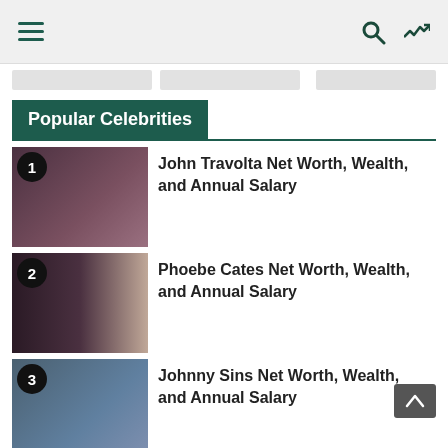Navigation header with hamburger menu, search icon, and shuffle icon
Popular Celebrities
John Travolta Net Worth, Wealth, and Annual Salary
Phoebe Cates Net Worth, Wealth, and Annual Salary
Johnny Sins Net Worth, Wealth, and Annual Salary